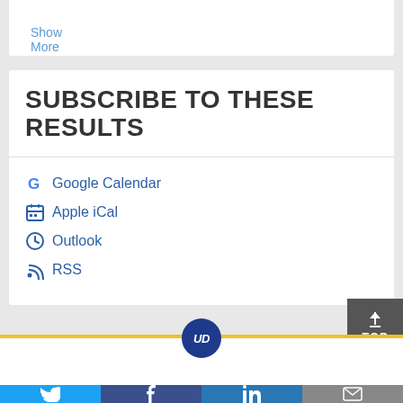Show More
SUBSCRIBE TO THESE RESULTS
Google Calendar
Apple iCal
Outlook
RSS
UD Home
EXPLORE
About Us